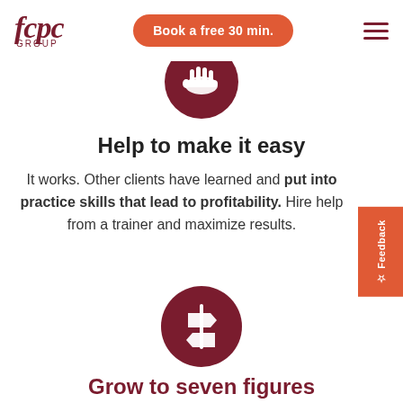fcpc GROUP | Book a free 30 min.
[Figure (illustration): Dark red circle with a white hand/handshake icon]
Help to make it easy
It works. Other clients have learned and put into practice skills that lead to profitability. Hire help from a trainer and maximize results.
[Figure (illustration): Dark red circle with a white road sign / direction sign icon]
Grow to seven figures
Get objective help and recommendations for